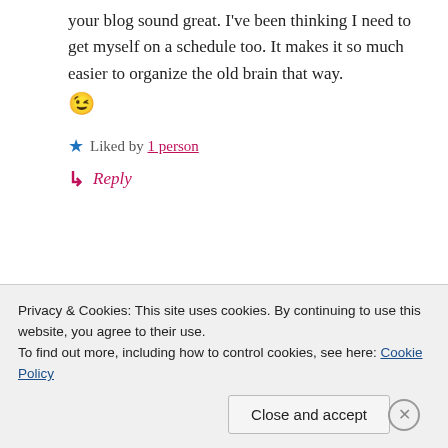your blog sound great. I've been thinking I need to get myself on a schedule too. It makes it so much easier to organize the old brain that way. 😉
★ Liked by 1 person
↳ Reply
Solveig
Privacy & Cookies: This site uses cookies. By continuing to use this website, you agree to their use. To find out more, including how to control cookies, see here: Cookie Policy
Close and accept